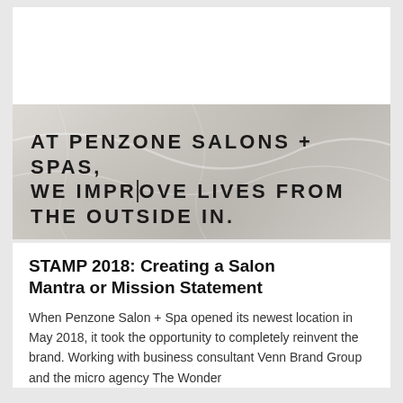[Figure (photo): Marble texture background image with bold uppercase tagline text overlaid: 'AT PENZONE SALONS + SPAS, WE IMPROVE LIVES FROM THE OUTSIDE IN.']
STAMP 2018: Creating a Salon Mantra or Mission Statement
When Penzone Salon + Spa opened its newest location in May 2018, it took the opportunity to completely reinvent the brand. Working with business consultant Venn Brand Group and the micro agency The Wonder